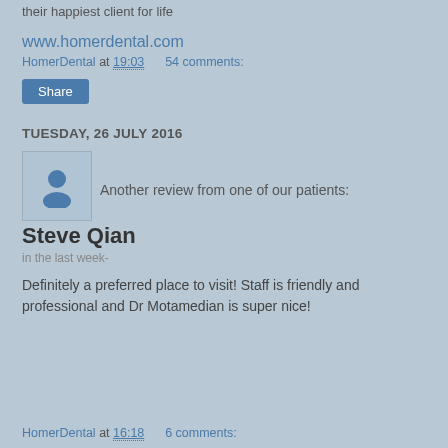their happiest client for life
www.homerdental.com
HomerDental at 19:03   54 comments:
Share
TUESDAY, 26 JULY 2016
[Figure (illustration): User avatar icon - silhouette of a person on light blue background]
Another review from one of our patients:
Steve Qian
in the last week-
Definitely a preferred place to visit! Staff is friendly and professional and Dr Motamedian is super nice!
HomerDental at 16:18   6 comments: